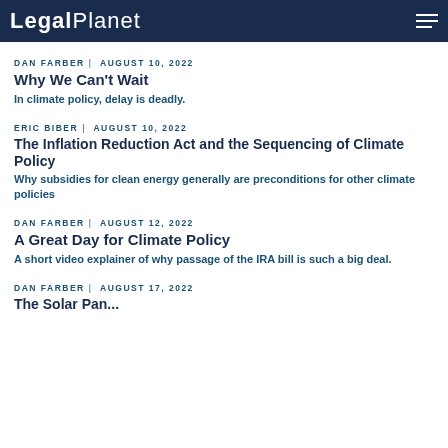Legal Planet
DAN FARBER | AUGUST 10, 2022
Why We Can't Wait
In climate policy, delay is deadly.
ERIC BIBER | AUGUST 10, 2022
The Inflation Reduction Act and the Sequencing of Climate Policy
Why subsidies for clean energy generally are preconditions for other climate policies
DAN FARBER | AUGUST 12, 2022
A Great Day for Climate Policy
A short video explainer of why passage of the IRA bill is such a big deal.
DAN FARBER | AUGUST 17, 2022
The Solar Panel...